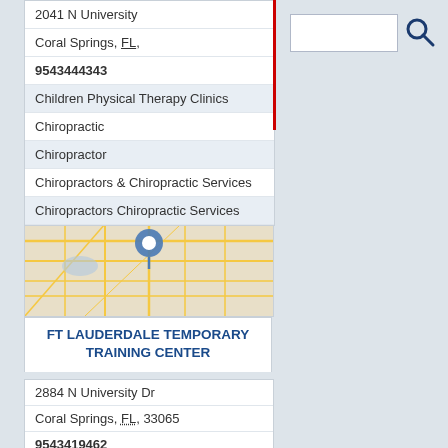2041 N University
Coral Springs, FL,
9543444343
Children Physical Therapy Clinics
Chiropractic
Chiropractor
Chiropractors & Chiropractic Services
Chiropractors Chiropractic Services
[Figure (map): Street map showing Coral Springs FL area with a blue location pin marker]
FT LAUDERDALE TEMPORARY TRAINING CENTER
2884 N University Dr
Coral Springs, FL, 33065
9543419462
Business
Court Reporters
Pleobotomy School
Public Schools With Ged Progams
Technical Schools